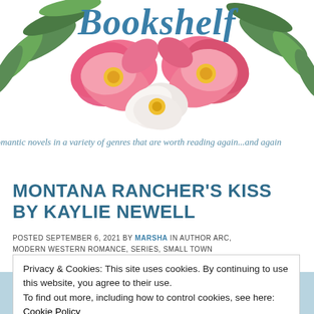[Figure (illustration): Decorative floral header with pink and white flowers, green leaves, and the word 'Bookshelf' in blue italic script overlaid on top]
romantic novels in a variety of genres that are worth reading again...and again
MONTANA RANCHER'S KISS BY KAYLIE NEWELL
POSTED SEPTEMBER 6, 2021 BY MARSHA IN AUTHOR ARC, MODERN WESTERN ROMANCE, SERIES, SMALL TOWN
Privacy & Cookies: This site uses cookies. By continuing to use this website, you agree to their use. To find out more, including how to control cookies, see here: Cookie Policy Close and accept
[Figure (photo): Bottom of a book cover showing the word 'Montana' in red script lettering]